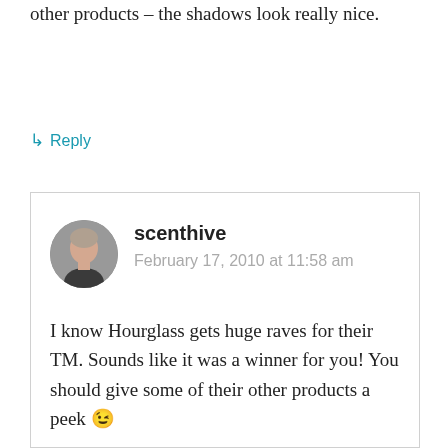other products – the shadows look really nice.
↳ Reply
[Figure (photo): User avatar photo of scenthive, a woman with light hair]
scenthive
February 17, 2010 at 11:58 am
I know Hourglass gets huge raves for their TM. Sounds like it was a winner for you! You should give some of their other products a peek 😉